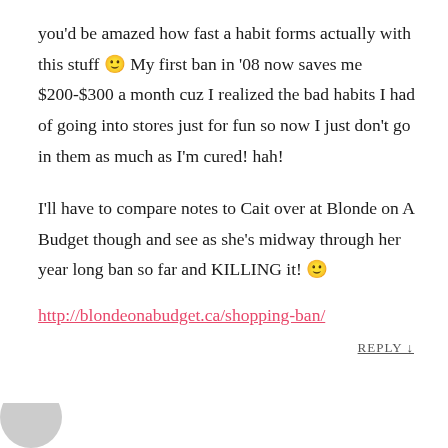you'd be amazed how fast a habit forms actually with this stuff 🙂 My first ban in '08 now saves me $200-$300 a month cuz I realized the bad habits I had of going into stores just for fun so now I just don't go in them as much as I'm cured! hah!
I'll have to compare notes to Cait over at Blonde on A Budget though and see as she's midway through her year long ban so far and KILLING it! 🙂
http://blondeonabudget.ca/shopping-ban/
REPLY ↓